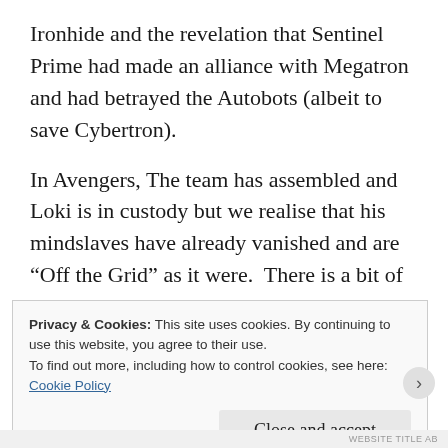Ironhide and the revelation that Sentinel Prime had made an alliance with Megatron and had betrayed the Autobots (albeit to save Cybertron).
In Avengers, The team has assembled and Loki is in custody but we realise that his mindslaves have already vanished and are “Off the Grid” as it were.  There is a bit of a mystery as to why Loki would allow himself to be captured so easily, and more surrounding what his overall endgame is.  Act 2 ends with an assault on the SHIELD Helicarrier, Loki’s escape and the Death of
Privacy & Cookies: This site uses cookies. By continuing to use this website, you agree to their use.
To find out more, including how to control cookies, see here:
Cookie Policy
Close and accept
WEBSITE TITLE AB